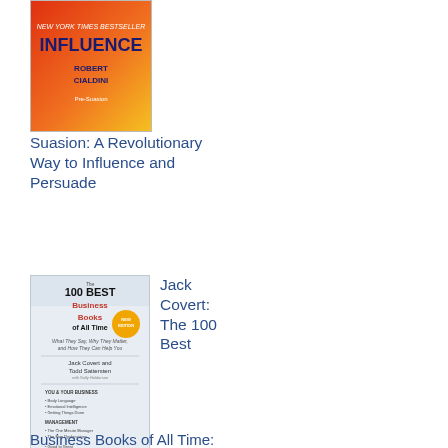[Figure (photo): Book cover of Influence by Robert Cialdini, gradient red-orange-yellow background with author name in bold]
Suasion: A Revolutionary Way to Influence and Persuade
[Figure (photo): Book cover of The 100 Best Business Books of All Time by Jack Covert and Todd Sattersten, light blue/white background with book title and authors listed]
Jack Covert: The 100 Best Business Books of All Time: What They Say, Why They Matter, and How They Can Help You
[Figure (photo): Book cover by Michael Lewis, grey background with author name in large spaced letters]
Michael Lewis: The